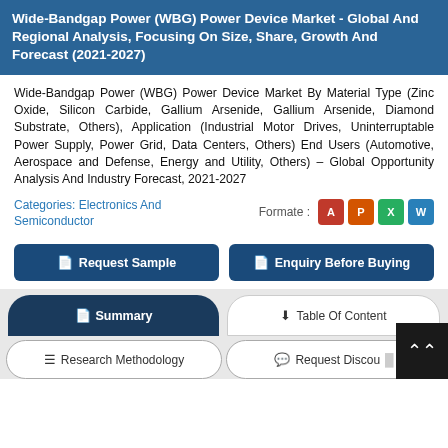Wide-Bandgap Power (WBG) Power Device Market - Global And Regional Analysis, Focusing On Size, Share, Growth And Forecast (2021-2027)
Wide-Bandgap Power (WBG) Power Device Market By Material Type (Zinc Oxide, Silicon Carbide, Gallium Arsenide, Gallium Arsenide, Diamond Substrate, Others), Application (Industrial Motor Drives, Uninterruptable Power Supply, Power Grid, Data Centers, Others) End Users (Automotive, Aerospace and Defense, Energy and Utility, Others) - Global Opportunity Analysis And Industry Forecast, 2021-2027
Categories: Electronics And Semiconductor
Formate :
Request Sample
Enquiry Before Buying
Summary
Table Of Content
Research Methodology
Request Discount